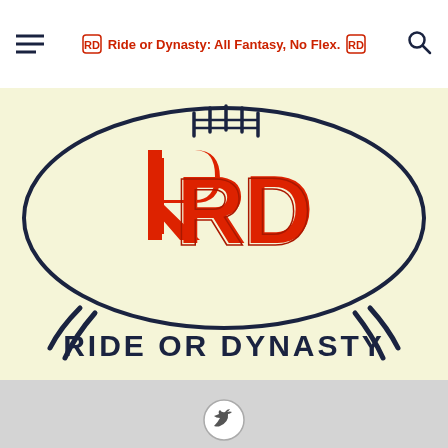Ride or Dynasty: All Fantasy, No Flex.
[Figure (logo): Ride or Dynasty logo featuring a football outline with red 'RD' monogram letters and 'RIDE OR DYNASTY' text in dark navy below, on a cream/yellow background]
[Figure (other): Twitter/X social media icon button at the bottom of the page on a light gray background]